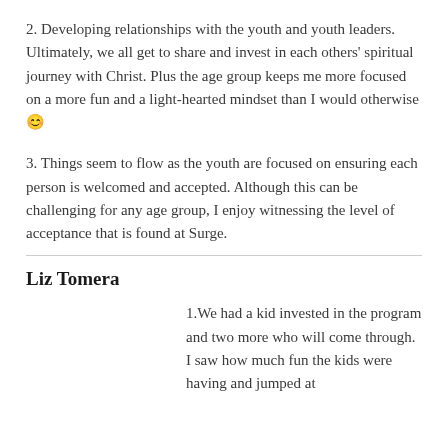2. Developing relationships with the youth and youth leaders. Ultimately, we all get to share and invest in each others' spiritual journey with Christ. Plus the age group keeps me more focused on a more fun and a light-hearted mindset than I would otherwise 😊
3. Things seem to flow as the youth are focused on ensuring each person is welcomed and accepted. Although this can be challenging for any age group, I enjoy witnessing the level of acceptance that is found at Surge.
Liz Tomera
1.We had a kid invested in the program and two more who will come through.  I saw how much fun the kids were having and jumped at